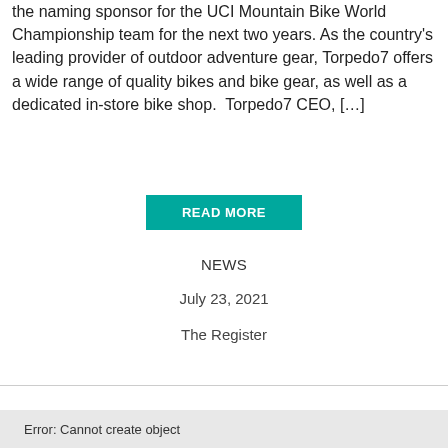the naming sponsor for the UCI Mountain Bike World Championship team for the next two years. As the country's leading provider of outdoor adventure gear, Torpedo7 offers a wide range of quality bikes and bike gear, as well as a dedicated in-store bike shop.  Torpedo7 CEO, […]
READ MORE
NEWS
July 23, 2021
The Register
Error: Cannot create object